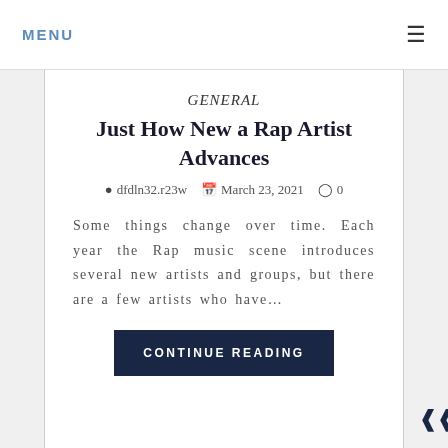MENU
GENERAL
Just How New a Rap Artist Advances
dfdln32.r23w   March 23, 2021   0
Some things change over time. Each year the Rap music scene introduces several new artists and groups, but there are a few artists who have…
CONTINUE READING